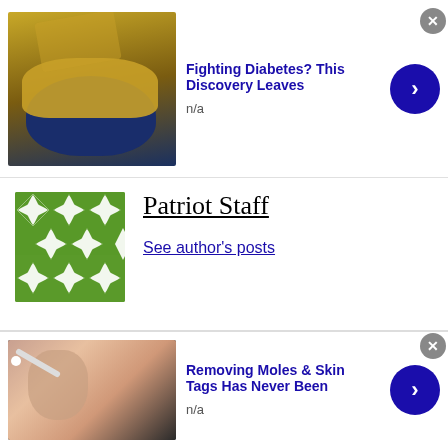[Figure (photo): Ad banner: food image (bowl with yellow/golden food) on left. Title 'Fighting Diabetes? This Discovery Leaves' in bold blue. 'n/a' below. Blue circle with > arrow on right. Gray X close button.]
[Figure (illustration): Author avatar: green geometric diamond/star pattern tile image (Patriot Staff logo)]
Patriot Staff
See author's posts
[Figure (other): Black box with white number 0]
[Figure (other): Tweet button with Twitter bird icon]
Share this:
Twitter  Facebook  Print
[Figure (photo): Ad banner: photo of woman with cotton swab near nose. Title 'Removing Moles & Skin Tags Has Never Been' in bold blue. 'n/a' below. Blue circle with > arrow. Gray X close button.]